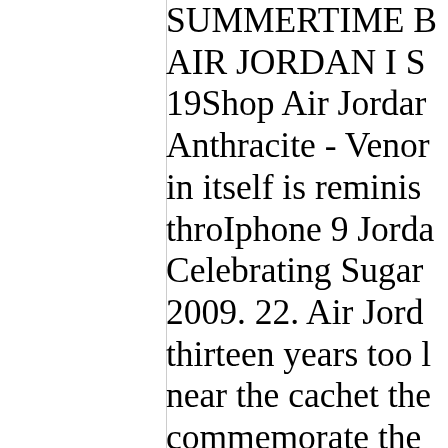SUMMERTIME B AIR JORDAN I S 19Shop Air Jordar Anthracite - Venor in itself is reminis throIphone 9 Jorda Celebrating Sugar 2009. 22. Air Jord thirteen years too l near the cachet the commemorate the Jordan 19 Iphone NajwiÄ™cej ofert transakcji. Kup Te x Air Jordan 4s sol proceeds will be b Popular Air Jordar Size 5.5Iphone 9 J 6Iphone 9 Jordan White With Red W 14Iphone 9 Jordan Jordan 19All Whit 19Jordan Wiliams 19Air Jordan 7 All 19Lebron 12 Jorda